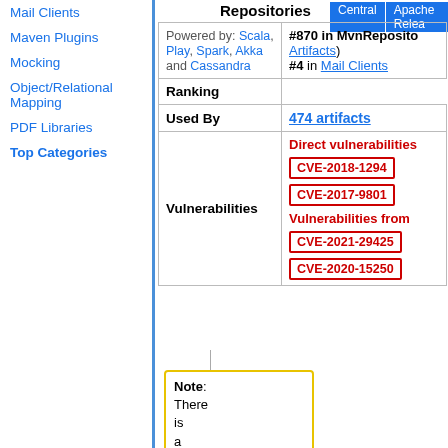Mail Clients
Maven Plugins
Mocking
Object/Relational Mapping
PDF Libraries
Top Categories
Repositories
|  |  |
| --- | --- |
| Powered by: Scala, Play, Spark, Akka and Cassandra | #870 in MvnRepository Artifacts) #4 in Mail Clients |
| Ranking | #870 in MvnRepository Artifacts) #4 in Mail Clients |
| Used By | 474 artifacts |
| Vulnerabilities | Direct vulnerabilities CVE-2018-1294 CVE-2017-9801 Vulnerabilities from CVE-2021-29425 CVE-2020-15250 |
Note: There is a new version for this artifact